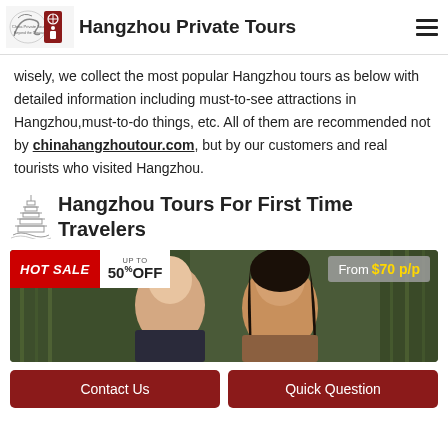Hangzhou Private Tours
wisely, we collect the most popular Hangzhou tours as below with detailed information including must-to-see attractions in Hangzhou,must-to-do things, etc. All of them are recommended not by chinahangzhoutour.com, but by our customers and real tourists who visited Hangzhou.
Hangzhou Tours For First Time Travelers
[Figure (photo): Couple smiling outdoors in front of green bamboo background, with HOT SALE UP TO 50% OFF badge on left and 'From $70 p/p' badge on right]
Contact Us
Quick Question